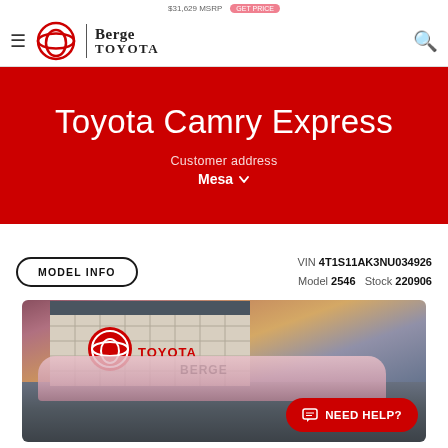$31,629 MSRP — Berge Toyota
Toyota Camry Express
Customer address
Mesa
MODEL INFO  VIN 4T1S11AK3NU034926  Model 2546  Stock 220906
[Figure (photo): Berge Toyota dealership exterior photo with Toyota and Berge signage, car visible in foreground, dramatic sunset sky background. NEED HELP? button overlay in bottom right.]